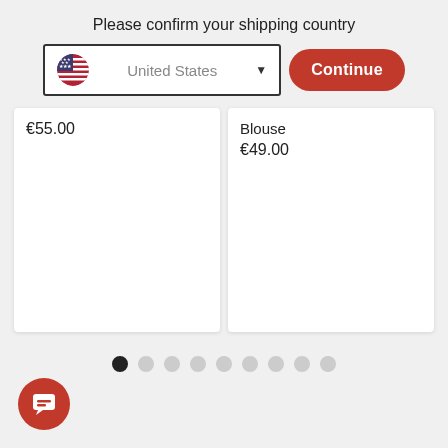Please confirm your shipping country
[Figure (screenshot): Country selector dropdown showing United States with flag icon and dropdown arrow, next to a red Continue button]
€55.00
Blouse
€49.00
[Figure (other): Pagination dots row: 9 dots, first one filled/active black, rest are empty grey circles]
[Figure (other): Red circular chat/message button in bottom-left corner]